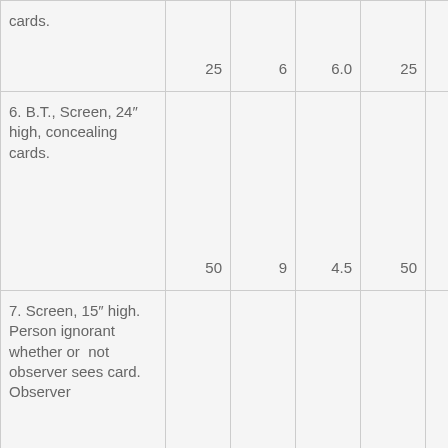| cards. | 25 | 6 | 6.0 | 25 | 13 | 13.0 |
| 6. B.T., Screen, 24″ high, concealing cards. | 50 | 9 | 4.5 | 50 | 18 | 9.0 |
| 7. Screen, 15″ high. Person ignorant whether or not observer sees card. Observer |  |  |  |  |  |  |